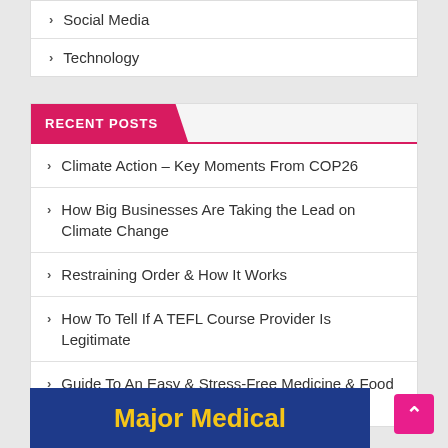Social Media
Technology
RECENT POSTS
Climate Action – Key Moments From COP26
How Big Businesses Are Taking the Lead on Climate Change
Restraining Order & How It Works
How To Tell If A TEFL Course Provider Is Legitimate
Guide To An Easy & Stress-Free Medicine & Food Supplement Delivery
[Figure (illustration): Blue banner with yellow bold text reading 'Major Medical']